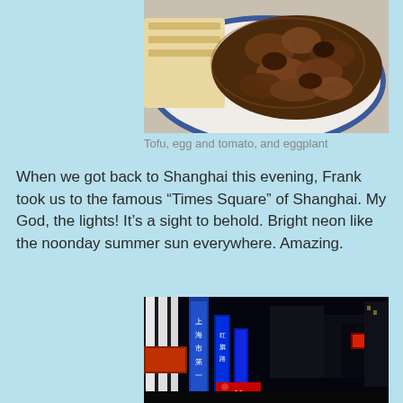[Figure (photo): A plate of braised eggplant and other Chinese dishes in dark brown sauce, partially visible on a white plate with blue trim.]
Tofu, egg and tomato, and eggplant
When we got back to Shanghai this evening, Frank took us to the famous “Times Square” of Shanghai. My God, the lights! It’s a sight to behold. Bright neon like the noonday summer sun everywhere. Amazing.
[Figure (photo): Nighttime street scene in Shanghai showing brightly lit neon signs in Chinese characters, including a McDonald's sign, illuminated storefronts and buildings.]